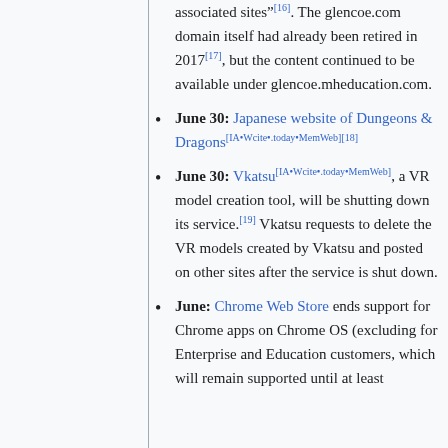associated sites"[16]. The glencoe.com domain itself had already been retired in 2017[17], but the content continued to be available under glencoe.mheducation.com.
June 30: Japanese website of Dungeons & Dragons[IA•Wcite•.today•MemWeb][18]
June 30: Vkatsu[IA•Wcite•.today•MemWeb], a VR model creation tool, will be shutting down its service.[19] Vkatsu requests to delete the VR models created by Vkatsu and posted on other sites after the service is shut down.
June: Chrome Web Store ends support for Chrome apps on Chrome OS (excluding for Enterprise and Education customers, which will remain supported until at least